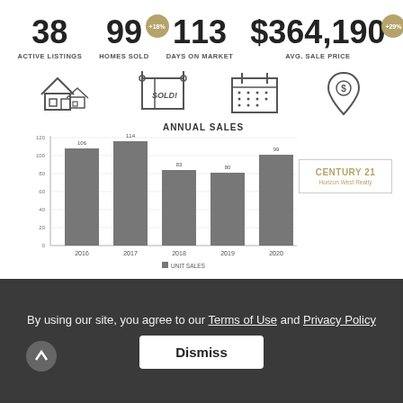[Figure (infographic): Four stat boxes: 38 Active Listings, 99 Homes Sold (+18%), 113 Days on Market, $364,190 Avg. Sale Price (+29%)]
[Figure (illustration): Four icons: house, sold sign, calendar, location pin with dollar sign]
[Figure (bar-chart): ANNUAL SALES]
[Figure (logo): Century 21 Horizon West Realty logo box]
By using our site, you agree to our Terms of Use and Privacy Policy
Dismiss